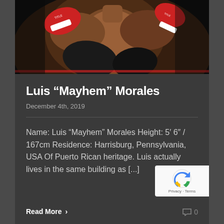[Figure (photo): Boxing match photo showing two fighters, one throwing a punch. Red and white boxing gloves visible, dark background.]
Luis “Mayhem” Morales
December 4th, 2019
Name: Luis “Mayhem” Morales Height: 5′ 6″ / 167cm Residence: Harrisburg, Pennsylvania, USA Of Puerto Rican heritage. Luis actually lives in the same building as [...]
Read More >
0